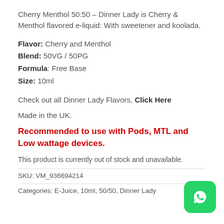Cherry Menthol 50:50 – Dinner Lady is Cherry & Menthol flavored e-liquid: With sweetener and koolada.
Flavor: Cherry and Menthol
Blend: 50VG / 50PG
Formula: Free Base
Size: 10ml
Check out all Dinner Lady Flavors, Click Here
Made in the UK.
Recommended to use with Pods, MTL and Low wattage devices.
This product is currently out of stock and unavailable.
SKU: VM_936694214
Categories: E-Juice, 10ml, 50/50, Dinner Lady